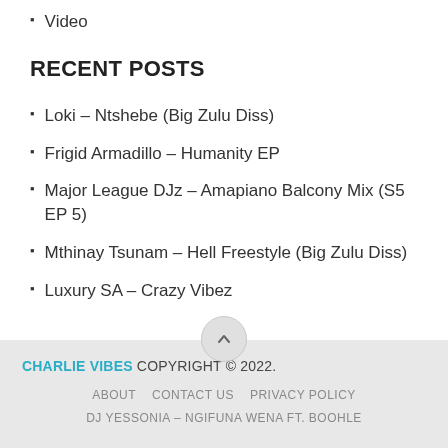Video
RECENT POSTS
Loki – Ntshebe (Big Zulu Diss)
Frigid Armadillo – Humanity EP
Major League DJz – Amapiano Balcony Mix (S5 EP 5)
Mthinay Tsunam – Hell Freestyle (Big Zulu Diss)
Luxury SA – Crazy Vibez
CHARLIE VIBES COPYRIGHT © 2022. ABOUT CONTACT US PRIVACY POLICY DJ YESSONIA – NGIFUNA WENA FT. BOOHLE